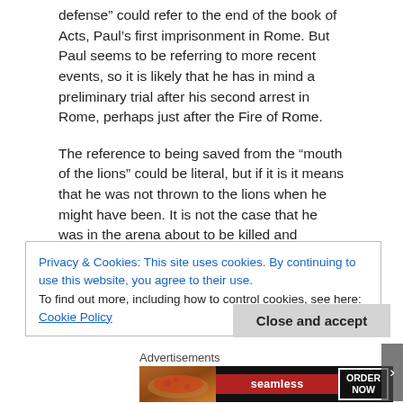defense” could refer to the end of the book of Acts, Paul’s first imprisonment in Rome. But Paul seems to be referring to more recent events, so it is likely that he has in mind a preliminary trial after his second arrest in Rome, perhaps just after the Fire of Rome.
The reference to being saved from the “mouth of the lions” could be literal, but if it is it means that he was not thrown to the lions when he might have been. It is not the case that he was in the arena about to be killed and somehow he was rescued. Think of this as someone who is acquitted from a capital offense “escaping the hangman’s noose.” The important fact is that God preserved him despite the fact that
Privacy & Cookies: This site uses cookies. By continuing to use this website, you agree to their use.
To find out more, including how to control cookies, see here: Cookie Policy
Close and accept
Advertisements
[Figure (other): Seamless food delivery advertisement banner with pizza image, Seamless logo, and ORDER NOW button]